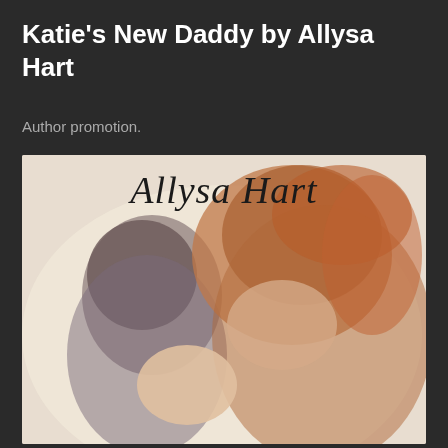Katie's New Daddy by Allysa Hart
Author promotion.
[Figure (photo): Book cover for 'Katie's New Daddy' by Allysa Hart. The cover shows the author name 'Allysa Hart' in handwritten script at the top, with a photograph of two women with brown/auburn hair embracing or leaning together, on a light background.]